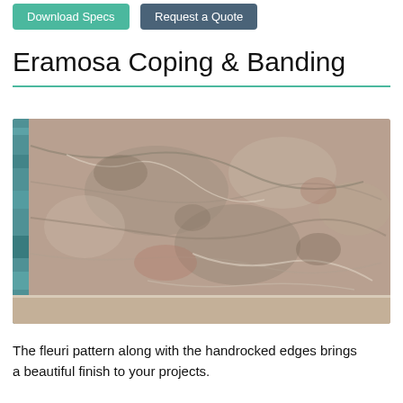[Figure (other): Two buttons: 'Download Specs' (teal/green background) and 'Request a Quote' (dark blue-grey background)]
Eramosa Coping & Banding
[Figure (photo): Close-up photo of Eramosa stone coping and banding material showing the fleuri pattern with natural veining in beige, brown, and grey tones. A strip of blue-green marble is visible on the left edge, and a lighter banding strip runs along the bottom.]
The fleuri pattern along with the handrocked edges brings a beautiful finish to your projects.